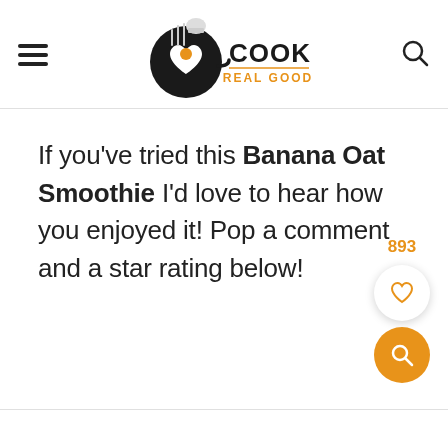COOK IT REAL GOOD
If you’ve tried this Banana Oat Smoothie I’d love to hear how you enjoyed it! Pop a comment and a star rating below!